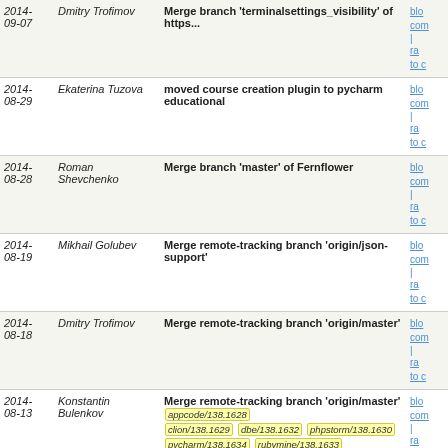| Date | Author | Message | Links |
| --- | --- | --- | --- |
| 2014-09-07 | Dmitry Trofimov | Merge branch 'terminalsettings_visibility' of https... | blo com | ra to c |
| 2014-08-29 | Ekaterina Tuzova | moved course creation plugin to pycharm educational | blo com | ra to c |
| 2014-08-28 | Roman Shevchenko | Merge branch 'master' of Fernflower | blo com | ra to c |
| 2014-08-19 | Mikhail Golubev | Merge remote-tracking branch 'origin/json-support' | blo com | ra to c |
| 2014-08-18 | Dmitry Trofimov | Merge remote-tracking branch 'origin/master' | blo com | ra to c |
| 2014-08-13 | Konstantin Bulenkov | Merge remote-tracking branch 'origin/master' [appcode/138.1628] [clion/138.1629] [dbe/138.1632] [phpstorm/138.1630] [pycharm/138.1634] [rubymine/138.1633] | blo com | ra to c |
| 2014-08-13 | Dmitry Trofimov | Merge remote-tracking branch 'origin/master' | blo com | ra to c |
| 2014-08-13 | Ekaterina Tuzova | Moved educational plugin for PyCharm to community ... | blo com | ra to c |
| 2014-08-13 | Roman Shevchenko | Merge remote-tracking branch 'origin/master' [idea/138.1619] | blo com | ra to c |
| 2014-08-13 | Konstantin Kolosovsky | Merge branch 'svn_18_3' | blo com | ra |